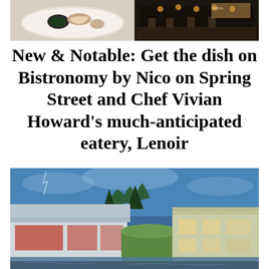[Figure (photo): Two food/restaurant photos side by side at top: left shows seafood dish on white plate, right shows dark moody restaurant interior bar scene]
New & Notable: Get the dish on Bistronomy by Nico on Spring Street and Chef Vivian Howard's much-anticipated eatery, Lenoir
[Figure (photo): Exterior twilight photo of Lenoir restaurant building on waterfront with blue sky, green marsh grass, and water reflection in foreground]